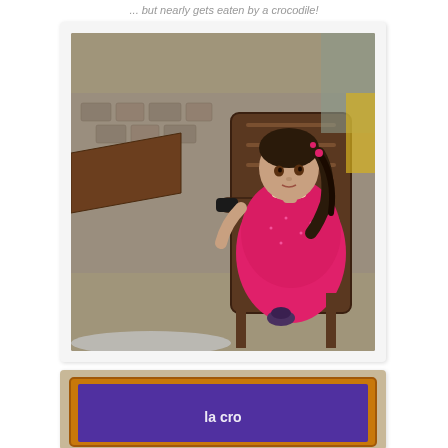... but nearly gets eaten by a crocodile!
[Figure (photo): A doll dressed in a pink sparkly dress with dark hair and pink accessories, seated in a wooden chair at an outdoor cafe table with cobblestone street in the background.]
[Figure (photo): A wooden framed sign or menu board with a purple background, partially visible at the bottom of the page.]